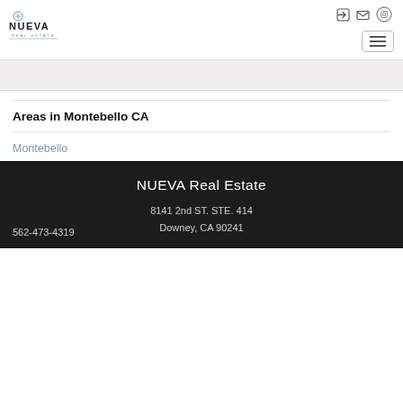[Figure (logo): NUEVA Real Estate logo in top left corner]
Areas in Montebello CA
Montebello
NUEVA Real Estate
8141 2nd ST. STE. 414
Downey, CA 90241
562-473-4319